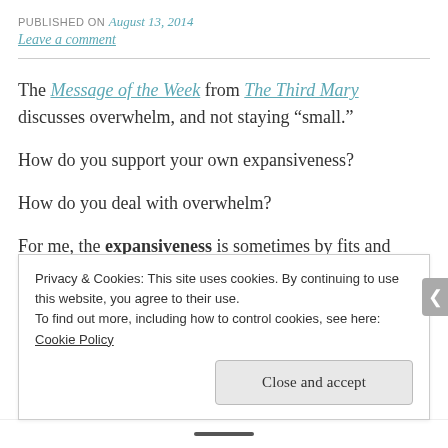PUBLISHED ON August 13, 2014
Leave a comment
The Message of the Week from The Third Mary discusses overwhelm, and not staying “small.”
How do you support your own expansiveness?
How do you deal with overwhelm?
For me, the expansiveness is sometimes by fits and
Privacy & Cookies: This site uses cookies. By continuing to use this website, you agree to their use.
To find out more, including how to control cookies, see here:
Cookie Policy
Close and accept